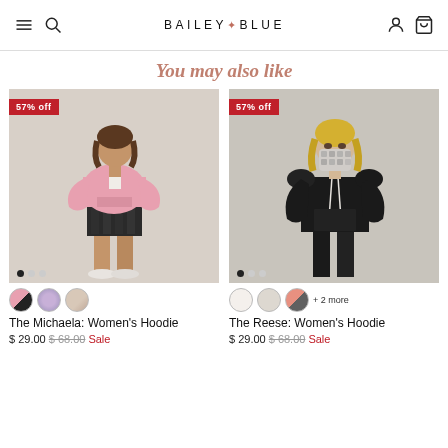BAILEY BLUE
You may also like
[Figure (photo): Product photo of The Michaela Women's Hoodie - woman in pink hoodie and black shorts, 57% off badge]
[Figure (photo): Product photo of The Reese Women's Hoodie - woman in black hoodie wearing patterned face mask, 57% off badge]
The Michaela: Women's Hoodie
$ 29.00  $ 68.00  Sale
The Reese: Women's Hoodie
$ 29.00  $ 68.00  Sale